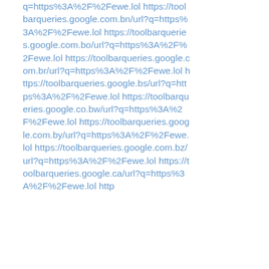q=https%3A%2F%2Fewe.lol https://toolbarqueries.google.com.bn/url?q=https%3A%2F%2Fewe.lol https://toolbarqueries.google.com.bo/url?q=https%3A%2F%2Fewe.lol https://toolbarqueries.google.com.br/url?q=https%3A%2F%2Fewe.lol https://toolbarqueries.google.bs/url?q=https%3A%2F%2Fewe.lol https://toolbarqueries.google.co.bw/url?q=https%3A%2F%2Fewe.lol https://toolbarqueries.google.com.by/url?q=https%3A%2F%2Fewe.lol https://toolbarqueries.google.com.bz/url?q=https%3A%2F%2Fewe.lol https://toolbarqueries.google.ca/url?q=https%3A%2F%2Fewe.lol http